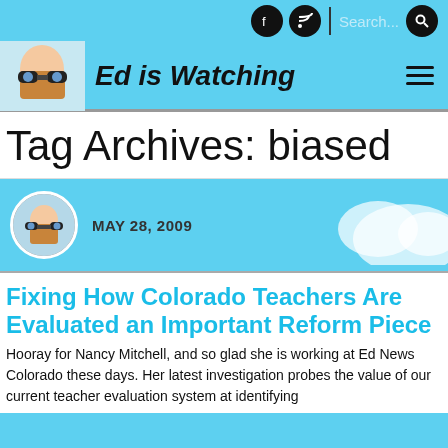Ed is Watching
Tag Archives: biased
MAY 28, 2009
Fixing How Colorado Teachers Are Evaluated an Important Reform Piece
Hooray for Nancy Mitchell, and so glad she is working at Ed News Colorado these days. Her latest investigation probes the value of our current teacher evaluation system at identifying effective teachers…